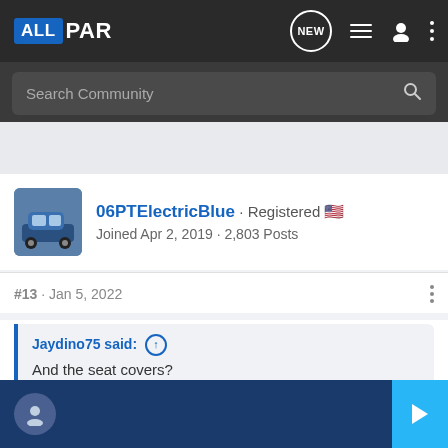ALLPAR - Search Community navigation bar
06PTElectricBlue · Registered
Joined Apr 2, 2019 · 2,803 Posts
#13 · Jan 5, 2022
Jaydino75 said: ↑
And the seat covers?
Unfortun... [Highway] Edition i...